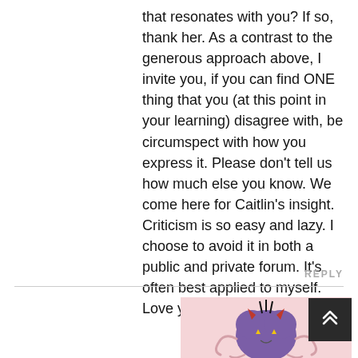that resonates with you? If so, thank her. As a contrast to the generous approach above, I invite you, if you can find ONE thing that you (at this point in your learning) disagree with, be circumspect with how you express it. Please don't tell us how much else you know. We come here for Caitlin's insight.
Criticism is so easy and lazy. I choose to avoid it in both a public and private forum. It's often best applied to myself.
Love your work Caitlin.
REPLY
[Figure (illustration): Pink background square containing a cartoon purple heart-shaped creature with small devil horns, yellow triangle eyes, tentacle-like limbs, and spiky hair on top]